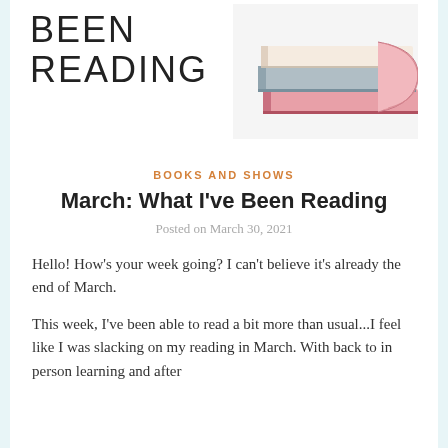BEEN
READING
[Figure (illustration): Stack of colorful books (pink, blue, white) viewed from the side, partially cropped]
BOOKS AND SHOWS
March: What I've Been Reading
Posted on March 30, 2021
Hello! How’s your week going? I can’t believe it’s already the end of March.
This week, I’ve been able to read a bit more than usual...I feel like I was slacking on my reading in March. With back to in person learning and after